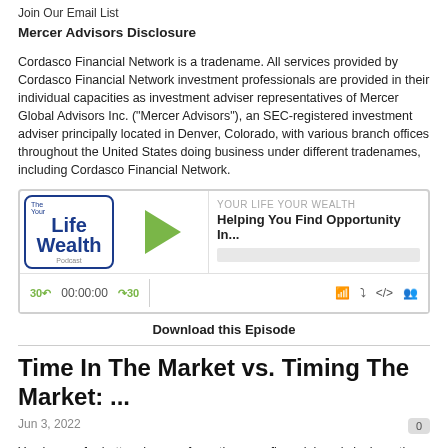Join Our Email List
Mercer Advisors Disclosure
Cordasco Financial Network is a tradename. All services provided by Cordasco Financial Network investment professionals are provided in their individual capacities as investment adviser representatives of Mercer Global Advisors Inc. (“Mercer Advisors”), an SEC-registered investment adviser principally located in Denver, Colorado, with various branch offices throughout the United States doing business under different tradenames, including Cordasco Financial Network.
[Figure (screenshot): Podcast player widget for 'Your Life Your Wealth Podcast' showing episode titled 'Helping You Find Opportunity In...' with play button, progress bar, and controls showing 30s skip back, 00:00:00 time, 30s skip forward, and icons for RSS, download, embed, and settings.]
Download this Episode
Time In The Market vs. Timing The Market: ...
Jun 3, 2022
You have a far better chance of meeting your financial goals by investing for the long-term. The buy and quick-sell mentality of trying to “time the markets” can bring a quick profit, but this is more like gambling than investing.